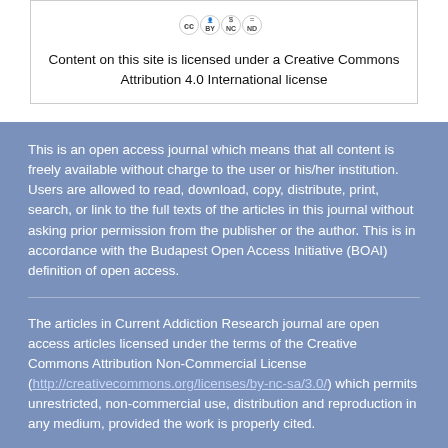[Figure (logo): Creative Commons BY NC ND license icon]
Content on this site is licensed under a Creative Commons Attribution 4.0 International license
This is an open access journal which means that all content is freely available without charge to the user or his/her institution. Users are allowed to read, download, copy, distribute, print, search, or link to the full texts of the articles in this journal without asking prior permission from the publisher or the author. This is in accordance with the Budapest Open Access Initiative (BOAI) definition of open access.
The articles in Current Addiction Research journal are open access articles licensed under the terms of the Creative Commons Attribution Non-Commercial License (http://creativecommons.org/licenses/by-nc-sa/3.0/) which permits unrestricted, non-commercial use, distribution and reproduction in any medium, provided the work is properly cited.